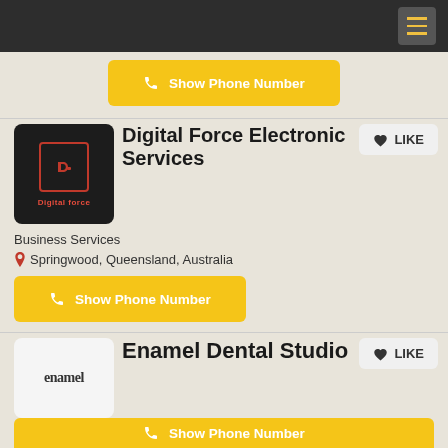Navigation header with menu icon
[Figure (logo): Show Phone Number button (yellow)]
[Figure (logo): Digital Force Electronic Services logo - black background with red icon]
Digital Force Electronic Services
Business Services
Springwood, Queensland, Australia
[Figure (other): Show Phone Number yellow button]
[Figure (logo): Enamel Dental Studio logo - light background]
Enamel Dental Studio
Dental
Springwood, Queensland, Australia
[Figure (other): Show Phone Number yellow button (partial)]